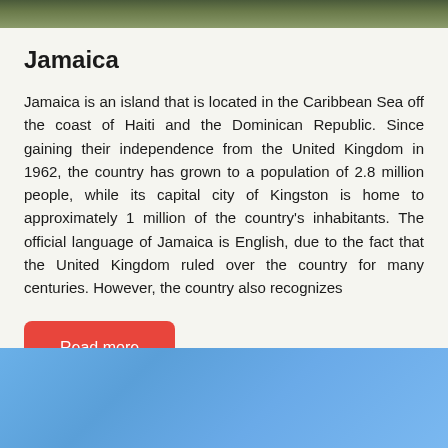[Figure (photo): Aerial or landscape photo of Jamaica at the top of the page, showing green/forested area]
Jamaica
Jamaica is an island that is located in the Caribbean Sea off the coast of Haiti and the Dominican Republic. Since gaining their independence from the United Kingdom in 1962, the country has grown to a population of 2.8 million people, while its capital city of Kingston is home to approximately 1 million of the country's inhabitants. The official language of Jamaica is English, due to the fact that the United Kingdom ruled over the country for many centuries. However, the country also recognizes
Read more
[Figure (illustration): Blue gradient background section at the bottom of the page]